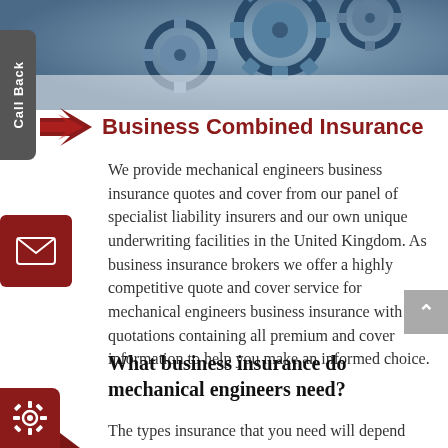[Figure (photo): Blue mechanical gears/cogs background image at top of page]
Business Combined Insurance
We provide mechanical engineers business insurance quotes and cover from our panel of specialist liability insurers and our own unique underwriting facilities in the United Kingdom. As business insurance brokers we offer a highly competitive quote and cover service for mechanical engineers business insurance with full quotations containing all premium and cover information to help you make an informed choice.
What business insurance do mechanical engineers need?
The types insurance that you need will depend